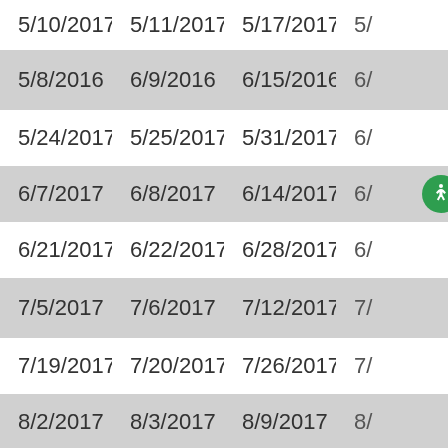| 5/10/2017 | 5/11/2017 | 5/17/2017 | 5/... |
| 5/8/2016 | 6/9/2016 | 6/15/2016 | 6/... |
| 5/24/2017 | 5/25/2017 | 5/31/2017 | 6/... |
| 6/7/2017 | 6/8/2017 | 6/14/2017 | 6/... |
| 6/21/2017 | 6/22/2017 | 6/28/2017 | 6/... |
| 7/5/2017 | 7/6/2017 | 7/12/2017 | 7/... |
| 7/19/2017 | 7/20/2017 | 7/26/2017 | 7/... |
| 8/2/2017 | 8/3/2017 | 8/9/2017 | 8/... |